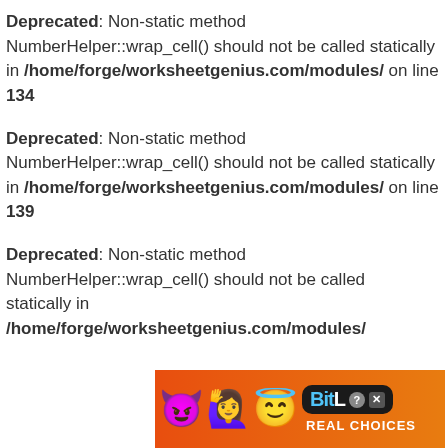Deprecated: Non-static method NumberHelper::wrap_cell() should not be called statically in /home/forge/worksheetgenius.com/modules/ on line 134
Deprecated: Non-static method NumberHelper::wrap_cell() should not be called statically in /home/forge/worksheetgenius.com/modules/ on line 139
Deprecated: Non-static method NumberHelper::wrap_cell() should not be called statically in /home/forge/worksheetgenius.com/modules/
[Figure (illustration): BitLife advertisement banner with orange background, emoji characters (devil, woman raising hands, angel emoji, sperm emoji), BitLife logo in dark box with question mark and X icons, and 'REAL CHOICES' text]